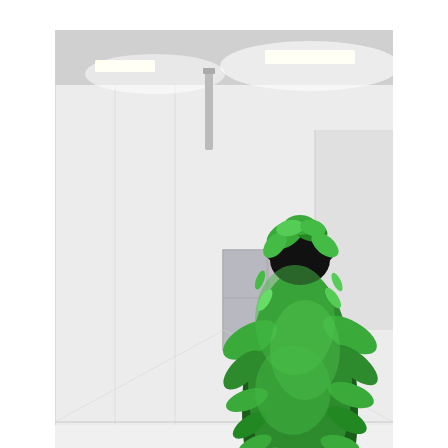[Figure (photo): A figure covered entirely in green leafy plants stands in a white warehouse/gallery space. The figure has human legs visible at the bottom and is completely covered in lush green foliage from the knees up. The room has fluorescent lighting, white walls, and a window. Copyright notice reads '© 2008 AMPO' in bottom left corner.]
ART WORK
LEAF MAN
updated: Aug 3,2015